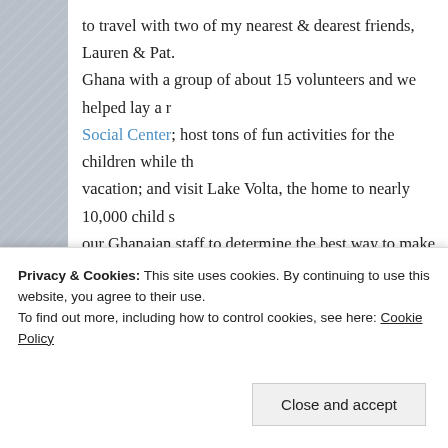to travel with two of my nearest & dearest friends, Lauren & Pat. Ghana with a group of about 15 volunteers and we helped lay a r... Social Center; host tons of fun activities for the children while th vacation; and visit Lake Volta, the home to nearly 10,000 child s our Ghanaian staff to determine the best way to make space for r Patrick shot this amazing video for Touch A Life on that trip, wh powerful & beautiful way to sum up what our organization does.
I can't wait to share photos from this trip when I get back in a fe of scheduling out posts while I'm gone but I didn't quite get eve list, so this post will have to suffice. See you soon, friends!
[Figure (photo): Bokeh light strip image at top of photo section]
Privacy & Cookies: This site uses cookies. By continuing to use this website, you agree to their use. To find out more, including how to control cookies, see here: Cookie Policy